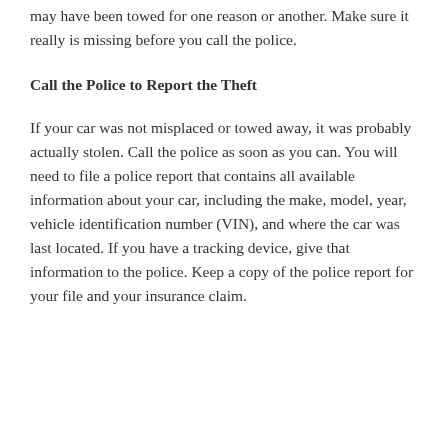may have been towed for one reason or another. Make sure it really is missing before you call the police.
Call the Police to Report the Theft
If your car was not misplaced or towed away, it was probably actually stolen. Call the police as soon as you can. You will need to file a police report that contains all available information about your car, including the make, model, year, vehicle identification number (VIN), and where the car was last located. If you have a tracking device, give that information to the police. Keep a copy of the police report for your file and your insurance claim.